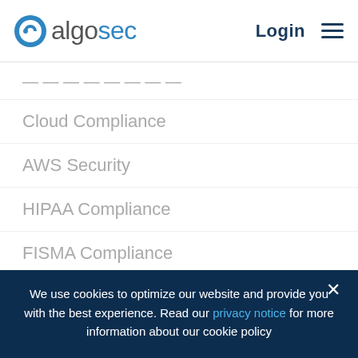algosec | Login
Cloud Compliance
AWS Security
HIPAA Compliance
FISMA Compliance
What are ISO/IEC 27001 Controls?
NIST Standards & Cybersecurity Framework
What is PCI DSS Compliance
We use cookies to optimize our website and provide you with the best experience. Read our privacy notice for more information about our cookie policy